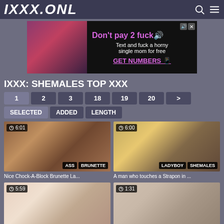IXXX.ONL
[Figure (screenshot): Advertisement banner: Don't pay 2 fuck - Text and fuck a horny single mom for free - GET NUMBERS]
IXXX: SHEMALES TOP XXX
Pagination: 1 2 3 18 19 20 >
Filter buttons: SELECTED ADDED LENGTH
[Figure (screenshot): Video thumbnail with duration 6:01, tags ASS, BRUNETTE]
[Figure (screenshot): Video thumbnail with duration 6:00, tags LADYBOY, SHEMALES]
Nice Chock-A-Block Brunette La...
A man who touches a Strapon in ...
[Figure (screenshot): Video thumbnail with duration 5:59]
[Figure (screenshot): Video thumbnail with duration 1:31]